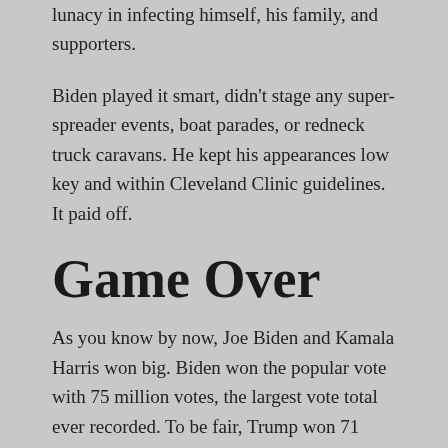lunacy in infecting himself, his family, and supporters.
Biden played it smart, didn't stage any super-spreader events, boat parades, or redneck truck caravans. He kept his appearances low key and within Cleveland Clinic guidelines. It paid off.
Game Over
As you know by now, Joe Biden and Kamala Harris won big. Biden won the popular vote with 75 million votes, the largest vote total ever recorded. To be fair, Trump won 71 million votes which was also impressive. That said, a 4